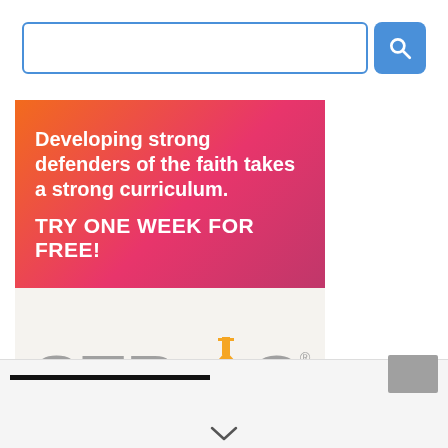[Figure (screenshot): Search bar input field with blue border and blue search button with magnifying glass icon]
[Figure (infographic): Strong Kids curriculum advertisement banner with orange-to-pink gradient top section containing text 'Developing strong defenders of the faith takes a strong curriculum. TRY ONE WEEK FOR FREE!' and bottom section with Strong Kids logo on light gray background]
[Figure (screenshot): Bottom navigation strip with a black horizontal bar on the left, gray thumbnail image on the right, and a chevron/down-arrow symbol at bottom center]